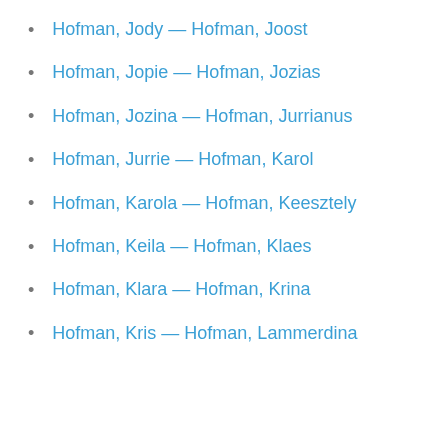Hofman, Jody — Hofman, Joost
Hofman, Jopie — Hofman, Jozias
Hofman, Jozina — Hofman, Jurrianus
Hofman, Jurrie — Hofman, Karol
Hofman, Karola — Hofman, Keesztely
Hofman, Keila — Hofman, Klaes
Hofman, Klara — Hofman, Krina
Hofman, Kris — Hofman, Lammerdina